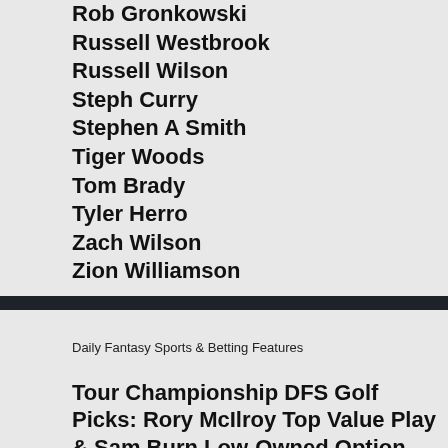Rob Gronkowski
Russell Westbrook
Russell Wilson
Steph Curry
Stephen A Smith
Tiger Woods
Tom Brady
Tyler Herro
Zach Wilson
Zion Williamson
Daily Fantasy Sports & Betting Features
Tour Championship DFS Golf Picks: Rory McIlroy Top Value Play & Sam Burn Low-Owned Option on DraftKings
PGA DFS Optimizer Picks: Low-Owned Cameron